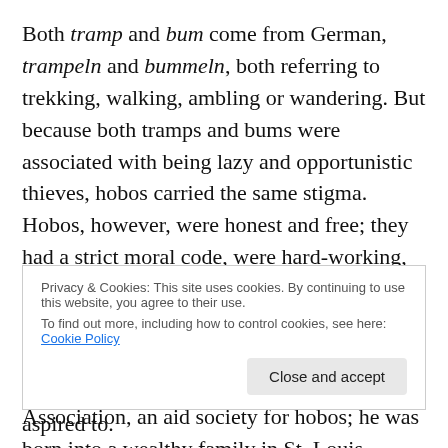Both tramp and bum come from German, trampeln and bummeln, both referring to trekking, walking, ambling or wandering. But because both tramps and bums were associated with being lazy and opportunistic thieves, hobos carried the same stigma. Hobos, however, were honest and free; they had a strict moral code, were hard-working, and some even chose that lifestyle above their own personal wealth or position, such as James Eads Howe, founder of the International Brotherhood Welfare Association, an aid society for hobos; he was born into a wealthy family in St. Louis, Missouri, but he chose instead
Privacy & Cookies: This site uses cookies. By continuing to use this website, you agree to their use. To find out more, including how to control cookies, see here: Cookie Policy
than those early migrants could have ever aspired to.